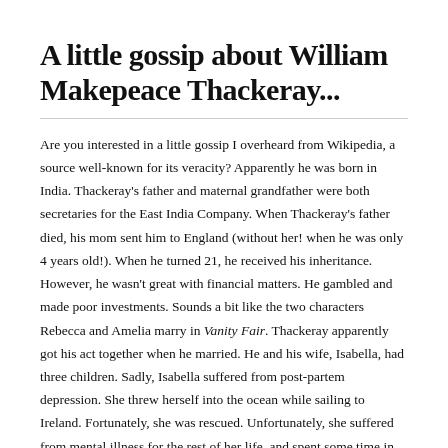A little gossip about William Makepeace Thackeray...
Are you interested in a little gossip I overheard from Wikipedia, a source well-known for its veracity? Apparently he was born in India. Thackeray's father and maternal grandfather were both secretaries for the East India Company. When Thackeray's father died, his mom sent him to England (without her! when he was only 4 years old!). When he turned 21, he received his inheritance. However, he wasn't great with financial matters. He gambled and made poor investments. Sounds a bit like the two characters Rebecca and Amelia marry in Vanity Fair. Thackeray apparently got his act together when he married. He and his wife, Isabella, had three children. Sadly, Isabella suffered from post-partem depression. She threw herself into the ocean while sailing to Ireland. Fortunately, she was rescued. Unfortunately, she suffered from mental illness for the rest of her life, and spent some time in asylums, and most of her life in private care. Wikipedia notes that Thackeray "desperately sought cures for her."